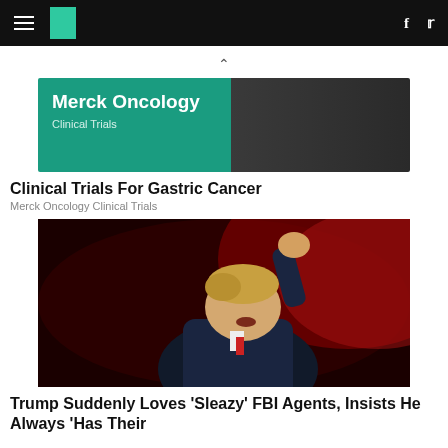HuffPost navigation bar with hamburger menu, logo, Facebook and Twitter icons
[Figure (other): Chevron up arrow navigation indicator]
[Figure (other): Merck Oncology Clinical Trials advertisement banner — teal/dark background with white text]
Clinical Trials For Gastric Cancer
Merck Oncology Clinical Trials
[Figure (photo): Photo of Donald Trump raising fist with red-lit background]
Trump Suddenly Loves 'Sleazy' FBI Agents, Insists He Always 'Has Their